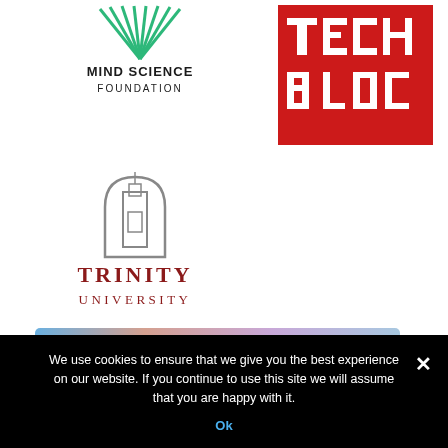[Figure (logo): Mind Science Foundation logo with green fan/arch graphic above text reading MIND SCIENCE FOUNDATION]
[Figure (logo): Tech Bloc logo: red square background with pixelated white text reading TECH BLOC]
[Figure (logo): Trinity University logo with grey arch/tower icon above text TRINITY UNIVERSITY in red]
[Figure (illustration): Partial banner image with colorful gradient (blue, peach, purple) with light circles/dots]
We use cookies to ensure that we give you the best experience on our website. If you continue to use this site we will assume that you are happy with it.
Ok